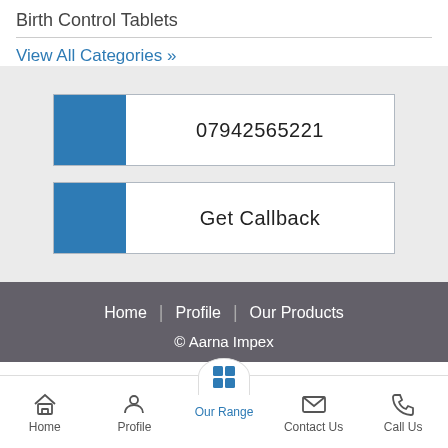Birth Control Tablets
View All Categories »
07942565221
Get Callback
Home | Profile | Our Products
© Aarna Impex
Home | Profile | Our Range | Contact Us | Call Us